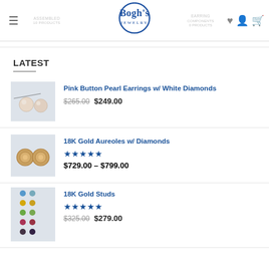Bogh's Jewelry — navigation header with logo, hamburger menu, ASSEMBLED 10 PRODUCTS nav, EARRING COMPONENTS 0 PRODUCTS nav, heart, user, and cart icons
LATEST
Pink Button Pearl Earrings w/ White Diamonds — Original price $265.00, Sale price $249.00
18K Gold Aureoles w/ Diamonds — 5 stars rating — $729.00 – $799.00
18K Gold Studs — 5 stars rating — Original price $325.00, Sale price $279.00